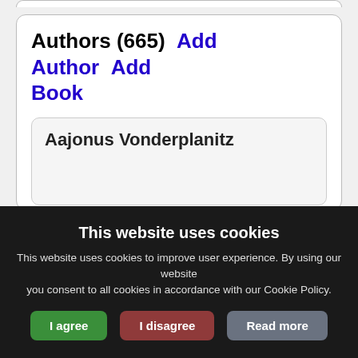Authors (665)  Add Author  Add Book
Aajonus Vonderplanitz
Abigail Collins
This website uses cookies
This website uses cookies to improve user experience. By using our website you consent to all cookies in accordance with our Cookie Policy.